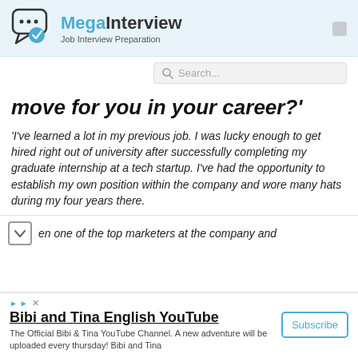[Figure (logo): MegaInterview logo with chat bubble icon and checkmark, subtitle 'Job Interview Preparation']
Search...
move for you in your career?'
'I've learned a lot in my previous job. I was lucky enough to get hired right out of university after successfully completing my graduate internship at a tech startup. I've had the opportunity to establish my own position within the company and wore many hats during my four years there.
en one of the top marketers at the company and
Bibi and Tina English YouTube
The Official Bibi & Tina YouTube Channel. A new adventure will be uploaded every thursday! Bibi and Tina